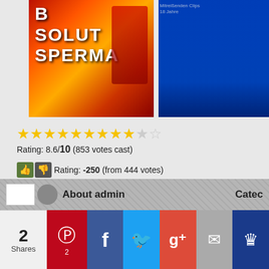[Figure (photo): Left: DVD cover with text 'BSOLUT SPERMA' on red/orange flame background. Right: Promotional photo with blue background showing models.]
Rating: 8.6/10 (853 votes cast)
Rating: -250 (from 444 votes)
GGG Models - Annette Schwarz, 8.6 out of 10 based on 857 ratings
About admin  Categ  2 Shares [Pinterest 2][Facebook][Twitter][Google+][Email][More]